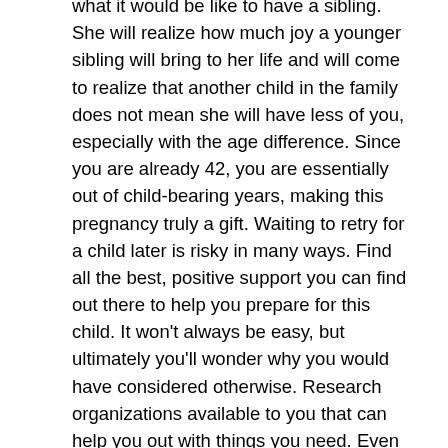what it would be like to have a sibling. She will realize how much joy a younger sibling will bring to her life and will come to realize that another child in the family does not mean she will have less of you, especially with the age difference. Since you are already 42, you are essentially out of child-bearing years, making this pregnancy truly a gift. Waiting to retry for a child later is risky in many ways. Find all the best, positive support you can find out there to help you prepare for this child. It won't always be easy, but ultimately you'll wonder why you would have considered otherwise. Research organizations available to you that can help you out with things you need. Even BPN regularly has free offerings for single moms to get the equipment they need for baby. enjoy your gift
It sounds like you want to terminate this pregnancy, but are worried your s/o would regret it. Single parenting is hard as you know, you can't base a decision on a potential regret of someone else. If you feel you can't handle it again, that is your answer. Some people don't have a great passion to have a child, and will be fine without it. Since he hasn't had one by